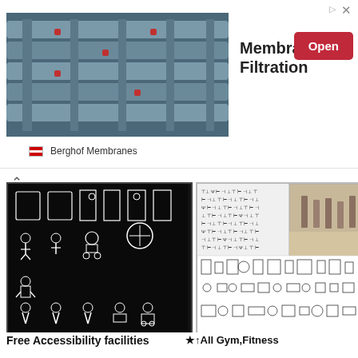[Figure (photo): Advertisement banner: Industrial pipes/membrane filtration photo on left, 'Membrane Filtration' text in center, red 'Open' button on right, Berghof Membranes branding below]
[Figure (illustration): Black background CAD block image showing accessibility facility symbols/icons in white line art]
[Figure (illustration): Gym/fitness CAD blocks image: top half shows technical drawings and real gym photo, bottom half shows equipment CAD blocks on white background]
Free Accessibility facilities 3
$0.00
Download
★↑All Gym,Fitness equipment CAD Blocks Bundle-Stadium,Gymnasium, playground, sports hall @Gem CAD Blocks,Autocad Blocks,Drawings,CAD Details
$8.00 $5.99